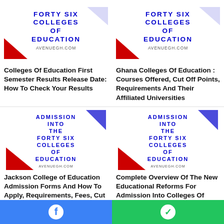[Figure (logo): Forty Six Colleges of Education logo with blue text and red diagonal stripe, avenuegh.com]
Colleges Of Education First Semester Results Release Date: How To Check Your Results
[Figure (logo): Forty Six Colleges of Education logo with blue text and red diagonal stripe, avenuegh.com]
Ghana Colleges Of Education : Courses Offered, Cut Off Points, Requirements And Their Affiliated Universities
[Figure (logo): Admission Into The Forty Six Colleges of Education logo with blue text and red diagonal stripe, avenuegh.com]
Jackson College of Education Admission Forms And How To Apply, Requirements, Fees, Cut Off Points : admission.coeportal.edu.gh
[Figure (logo): Admission Into The Forty Six Colleges of Education logo with blue text and red diagonal stripe, avenuegh.com]
Complete Overview Of The New Educational Reforms For Admission Into Colleges Of Education In Ghana